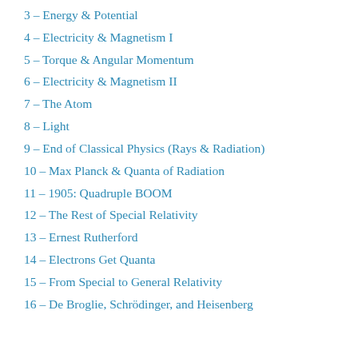3 – Energy & Potential
4 – Electricity & Magnetism I
5 – Torque & Angular Momentum
6 – Electricity & Magnetism II
7 – The Atom
8 – Light
9 – End of Classical Physics (Rays & Radiation)
10 – Max Planck & Quanta of Radiation
11 – 1905: Quadruple BOOM
12 – The Rest of Special Relativity
13 – Ernest Rutherford
14 – Electrons Get Quanta
15 – From Special to General Relativity
16 – De Broglie, Schrödinger, and Heisenberg